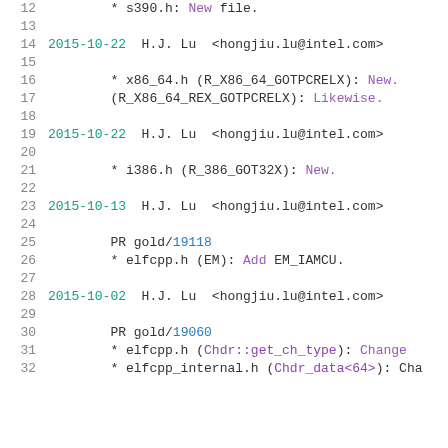12          * s390.h: New file.
13
14  2015-10-22  H.J. Lu  <hongjiu.lu@intel.com>
15
16          * x86_64.h (R_X86_64_GOTPCRELX): New.
17          (R_X86_64_REX_GOTPCRELX): Likewise.
18
19  2015-10-22  H.J. Lu  <hongjiu.lu@intel.com>
20
21          * i386.h (R_386_GOT32X): New.
22
23  2015-10-13  H.J. Lu  <hongjiu.lu@intel.com>
24
25          PR gold/19118
26          * elfcpp.h (EM): Add EM_IAMCU.
27
28  2015-10-02  H.J. Lu  <hongjiu.lu@intel.com>
29
30          PR gold/19060
31          * elfcpp.h (Chdr::get_ch_type): Change
32          * elfcpp_internal.h (Chdr_data<64>): Cha